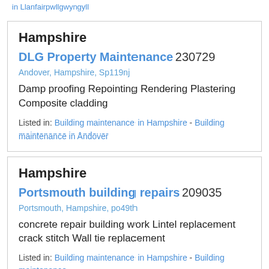in Llanfairpwllgwyngyll
Hampshire
DLG Property Maintenance 230729
Andover, Hampshire, Sp119nj
Damp proofing Repointing Rendering Plastering Composite cladding
Listed in: Building maintenance in Hampshire - Building maintenance in Andover
Hampshire
Portsmouth building repairs 209035
Portsmouth, Hampshire, po49th
concrete repair building work Lintel replacement crack stitch Wall tie replacement
Listed in: Building maintenance in Hampshire - Building maintenance